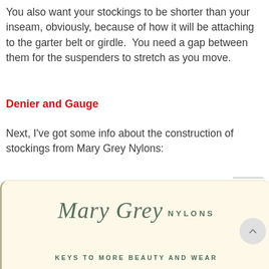You also want your stockings to be shorter than your inseam, obviously, because of how it will be attaching to the garter belt or girdle.  You need a gap between them for the suspenders to stretch as you move.
Denier and Gauge
Next, I've got some info about the construction of stockings from Mary Grey Nylons:
[Figure (photo): Cream-colored card with 'Mary Grey NYLONS' logo in teal script and sans-serif lettering, with tagline 'KEYS TO MORE BEAUTY AND WEAR' at the bottom. A scroll-to-top button is visible in the bottom right corner.]